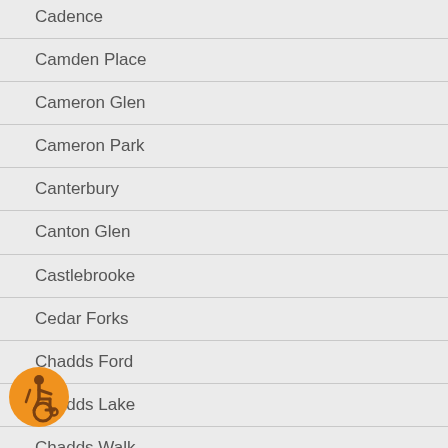Cadence
Camden Place
Cameron Glen
Cameron Park
Canterbury
Canton Glen
Castlebrooke
Cedar Forks
Chadds Ford
Chadds Lake
Chadds Walk
Charrington
[Figure (illustration): Accessibility icon: orange circle with wheelchair user symbol in brown/dark orange]